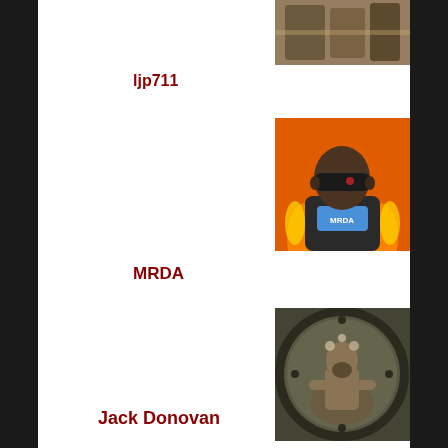[Figure (photo): Profile image thumbnail at top right, partially visible bottles/objects]
ljp711
[Figure (illustration): Cartoon avatar of a bald figure wearing dark sunglasses with flame background, wearing a jacket with MRDA text on shirt, on orange background]
MRDA
[Figure (photo): Photo of a muscular bald man meditating inside a circular stone frame]
Jack Donovan